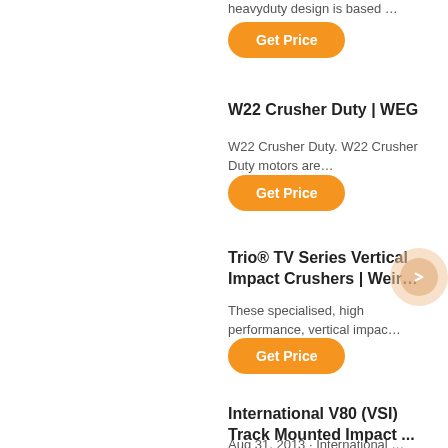heavyduty design is based …
Get Price
W22 Crusher Duty | WEG
W22 Crusher Duty. W22 Crusher Duty motors are…
Get Price
Trio® TV Series Vertical Impact Crushers | Weir…
These specialised, high performance, vertical impac…
Get Price
International V80 (VSI) Track Mounted Impact ...
Aug 31, 2013 · International …